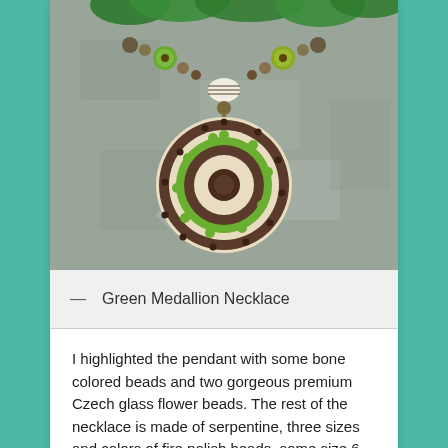[Figure (photo): Photo of a Green Medallion Necklace on a gray stone background. The necklace features a large round ceramic pendant with concentric circles in brown, green, and cream colors with small green dots around the rim. The beaded strand includes green Czech glass flower beads, bone-colored striped beads, and various other beads.]
— Green Medallion Necklace
I highlighted the pendant with some bone colored beads and two gorgeous premium Czech glass flower beads. The rest of the necklace is made of serpentine, three sizes and colors of fire polish beads, some size 6 seed beads and brass spacer beads.  It is adjustable,